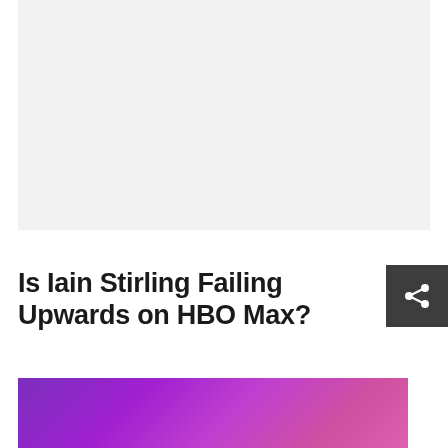[Figure (other): Light gray placeholder/advertisement box]
Is Iain Stirling Failing Upwards on HBO Max?
[Figure (other): Purple to pink gradient image, partial view of a show or movie promotional banner]